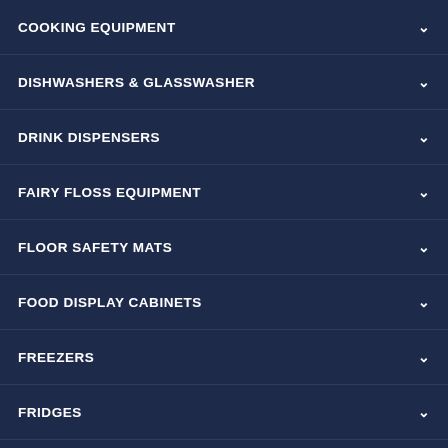COOKING EQUIPMENT
DISHWASHERS & GLASSWASHER
DRINK DISPENSERS
FAIRY FLOSS EQUIPMENT
FLOOR SAFETY MATS
FOOD DISPLAY CABINETS
FREEZERS
FRIDGES
HAND DRYERS
ICE CUBE MAKERS
ICE DISPENSERS
JUICING EQUIPMENT
POPCORN EQUIPMENT